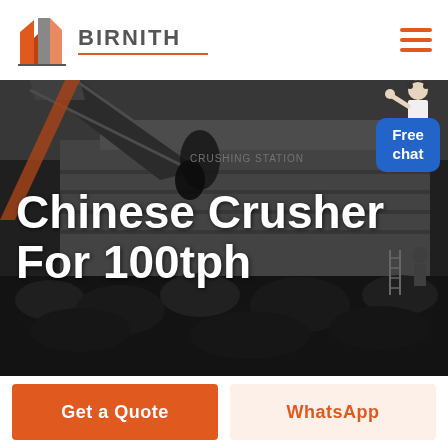[Figure (logo): Birnith company logo: stylized building icon in orange/red with grey column, company name BIRNITH in grey with orange underline]
[Figure (photo): Industrial crushing station machinery with large conveyor belt and rock/coal material being processed, dark grey/black industrial setting]
Chinese Crusher For 100tph
Free chat
Get a Quote
WhatsApp